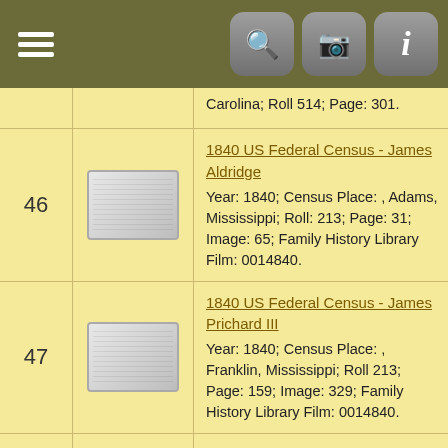Navigation bar with menu, search, camera, and info icons
| # | Image | Record |
| --- | --- | --- |
|  |  | Carolina; Roll 514; Page: 301. |
| 46 | [doc image] | 1840 US Federal Census - James Aldridge
Year: 1840; Census Place: , Adams, Mississippi; Roll: 213; Page: 31; Image: 65; Family History Library Film: 0014840. |
| 47 | [doc image] | 1840 US Federal Census - James Prichard III
Year: 1840; Census Place: , Franklin, Mississippi; Roll 213; Page: 159; Image: 329; Family History Library Film: 0014840. |
| 48 | [doc image] | 1840 US Federal census - Jesse Davidson
Year: 1840; Census Place: , Montgomery, Tennessee; Roll: 532; Page: 249; Image: 504; Family History Library Film: 0024548. |
| 49 | [doc image] | 1840 US Federal Census - John C. Benison
Year: 1840; Census Place: , Smith, Mississippi; Roll 217; Page: 232. |
| 50 | [doc image] | 1840 US Federal Census - Jordan Joyner
Year: 1840; Census Place: , Nash, North Carolina; Roll: 266; Page: 70; Image: 165; Family History... |